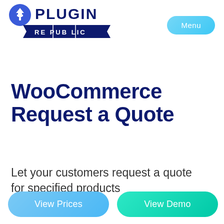[Figure (logo): Plugin Republic logo with plug icon and banner reading RE PUB LIC]
Menu
WooCommerce Request a Quote
Let your customers request a quote for specified products
View Prices
View Demo